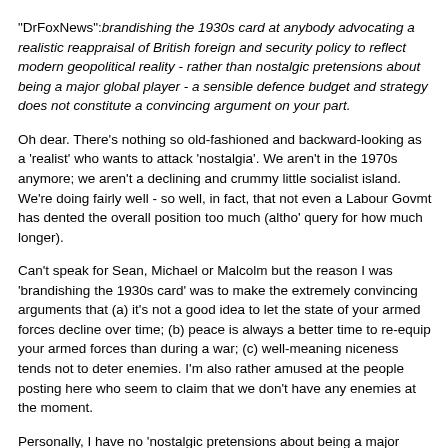"DrFoxNews":brandishing the 1930s card at anybody advocating a realistic reappraisal of British foreign and security policy to reflect modern geopolitical reality - rather than nostalgic pretensions about being a major global player - a sensible defence budget and strategy does not constitute a convincing argument on your part.
Oh dear. There's nothing so old-fashioned and backward-looking as a 'realist' who wants to attack 'nostalgia'. We aren't in the 1970s anymore; we aren't a declining and crummy little socialist island. We're doing fairly well - so well, in fact, that not even a Labour Govmt has dented the overall position too much (altho' query for how much longer).
Can't speak for Sean, Michael or Malcolm but the reason I was 'brandishing the 1930s card' was to make the extremely convincing arguments that (a) it's not a good idea to let the state of your armed forces decline over time; (b) peace is always a better time to re-equip your armed forces than during a war; (c) well-meaning niceness tends not to deter enemies. I'm also rather amused at the people posting here who seem to claim that we don't have any enemies at the moment.
Personally, I have no 'nostalgic pretensions about being a major global player'; if anything, my complaint is that we are under-funding our global commitments at present. The short-term solution would be to either cut the commitments or